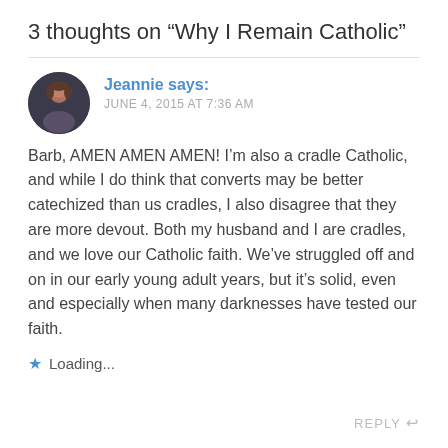3 thoughts on “Why I Remain Catholic”
Jeannie says:
JUNE 4, 2015 AT 7:36 AM
Barb, AMEN AMEN AMEN! I’m also a cradle Catholic, and while I do think that converts may be better catechized than us cradles, I also disagree that they are more devout. Both my husband and I are cradles, and we love our Catholic faith. We’ve struggled off and on in our early young adult years, but it’s solid, even and especially when many darknesses have tested our faith.
Loading...
REPLY